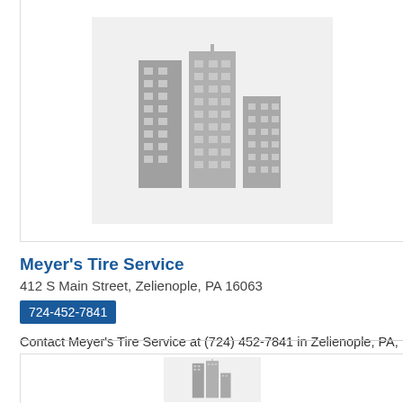[Figure (illustration): Generic business building/skyline placeholder image on grey background]
Meyer's Tire Service
412 S Main Street, Zelienople, PA 16063
724-452-7841
Contact Meyer's Tire Service at (724) 452-7841 in Zelienople, PA, to speak with us about our quality work for flat tires.
View detail page - Meyer's Tire Service
[Figure (illustration): Generic business building/skyline placeholder image on grey background (second listing)]